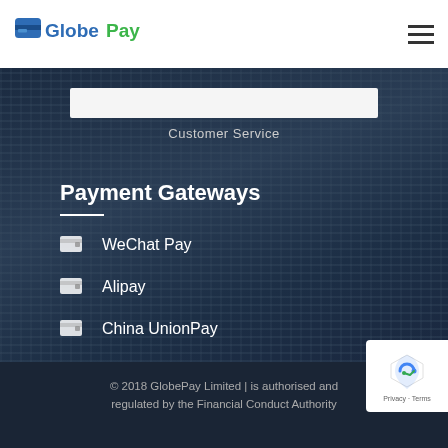GlobePay
Customer Service
Payment Gateways
WeChat Pay
Alipay
China UnionPay
© 2018 GlobePay Limited | is authorised and regulated by the Financial Conduct Authority